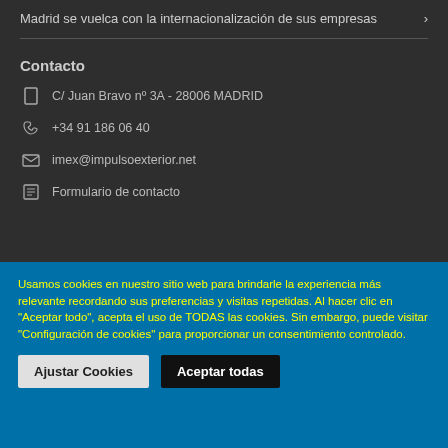Madrid se vuelca con la internacionalización de sus empresas >
Contacto
C/ Juan Bravo nº 3A - 28006 MADRID
+34 91 186 06 40
imex@impulsoexterior.net
Formulario de contacto
Usamos cookies en nuestro sitio web para brindarle la experiencia más relevante recordando sus preferencias y visitas repetidas. Al hacer clic en "Aceptar todo", acepta el uso de TODAS las cookies. Sin embargo, puede visitar "Configuración de cookies" para proporcionar un consentimiento controlado.
Ajustar Cookies | Aceptar todas